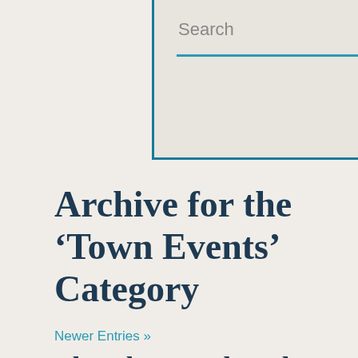[Figure (screenshot): Search box UI element with teal underline and arrow icon, on a beige/gray background with teal border]
Archive for the ‘Town Events’ Category
Newer Entries »
The Clans Gathered, and had a Blast!
August 28th, 2018
The first annual Gathering of the